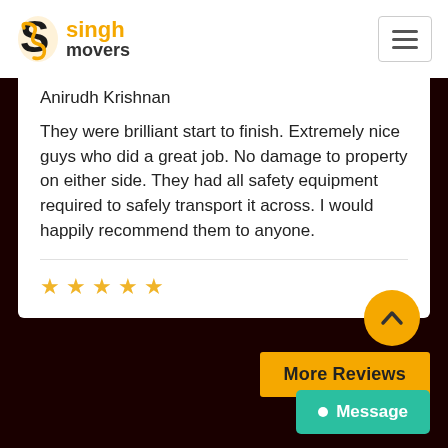[Figure (logo): Singh Movers logo with yellow S icon and company name]
Anirudh Krishnan
They were brilliant start to finish. Extremely nice guys who did a great job. No damage to property on either side. They had all safety equipment required to safely transport it across. I would happily recommend them to anyone.
[Figure (other): Five gold star rating icons]
More Reviews
Message